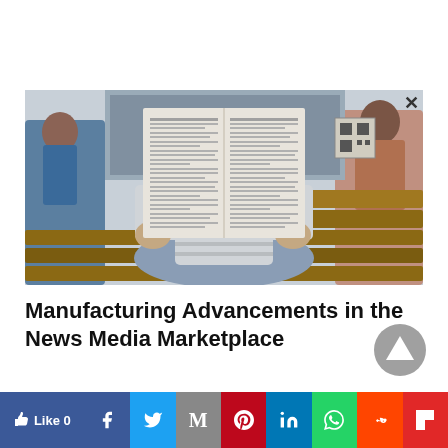[Figure (photo): Person sitting cross-legged reading a large newspaper, outdoors on wooden benches, other people visible in background]
Manufacturing Advancements in the News Media Marketplace
[Figure (infographic): Social media share bar with Like, Facebook, Twitter, Mail, Pinterest, LinkedIn, WhatsApp, Reddit, Flipboard buttons]